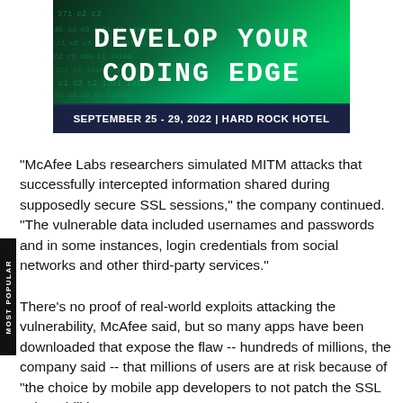[Figure (illustration): Banner advertisement for a coding conference. Background shows green digital code/matrix visual. Large white bold text reads 'DEVELOP YOUR CODING EDGE'. Below in a dark navy bar: 'SEPTEMBER 25 - 29, 2022 | HARD ROCK HOTEL']
"McAfee Labs researchers simulated MITM attacks that successfully intercepted information shared during supposedly secure SSL sessions," the company continued. "The vulnerable data included usernames and passwords and in some instances, login credentials from social networks and other third-party services."
There's no proof of real-world exploits attacking the vulnerability, McAfee said, but so many apps have been downloaded that expose the flaw -- hundreds of millions, the company said -- that millions of users are at risk because of "the choice by mobile app developers to not patch the SSL vulnerabilities."